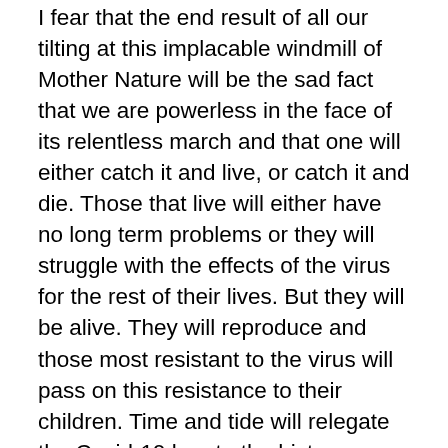I fear that the end result of all our tilting at this implacable windmill of Mother Nature will be the sad fact that we are powerless in the face of its relentless march and that one will either catch it and live, or catch it and die. Those that live will either have no long term problems or they will struggle with the effects of the virus for the rest of their lives. But they will be alive. They will reproduce and those most resistant to the virus will pass on this resistance to their children. Time and tide will relegate the Covid-19 bug to the history books and the world will wait nervously or obliviously for whatever's coming down the pike next from the wet markets of China. The virus is going to run its course and humans are banging their heads as it does.
We see this happening now as governments try to protect citizens who don't want to be protected. We see it in the attempts by some nations to pay lip service to their stated